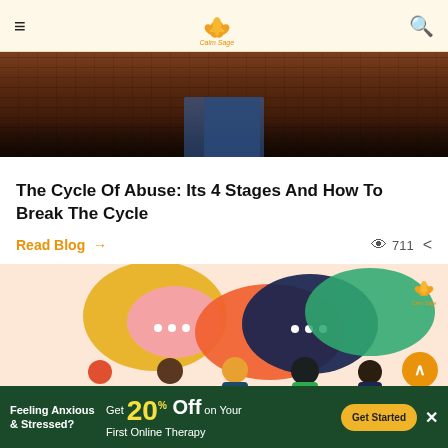Calm Sage
[Figure (photo): Dark brick wall background with person in jeans standing against it, lower portion visible]
The Cycle Of Abuse: Its 4 Stages And How To Break The Cycle
Read Blog → 711
[Figure (illustration): Colorful speech bubbles with diverse group of people talking, on a peach background, with Calm Sage logo]
Feeling Anxious & Stressed? Get 20% Off on Your First Online Therapy Get Started